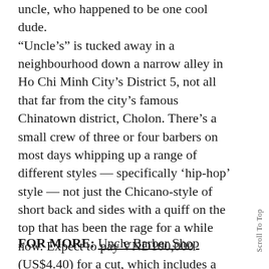uncle, who happened to be one cool dude. “Uncle’s” is tucked away in a neighbourhood down a narrow alley in Ho Chi Minh City’s District 5, not all that far from the city’s famous Chinatown district, Cholon. There’s a small crew of three or four barbers on most days whipping up a range of different styles — specifically ‘hip-hop’ style — not just the Chicano-style of short back and sides with a quiff on the top that has been the rage for a while now. Expect to pay VND100,000 (US$4.40) for a cut, which includes a hair wash and styling. Get the whiskers done for an extra VND30,000.
FOR MORE: Uncle Barber Shop